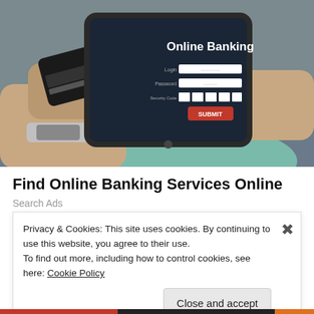[Figure (photo): Person holding a tablet showing an Online Banking login screen with fields for Login, Password, Security Code and a red SUBMIT button. The person is also holding a credit card and wearing a watch.]
Find Online Banking Services Online
Search Ads
Privacy & Cookies: This site uses cookies. By continuing to use this website, you agree to their use.
To find out more, including how to control cookies, see here: Cookie Policy

Close and accept